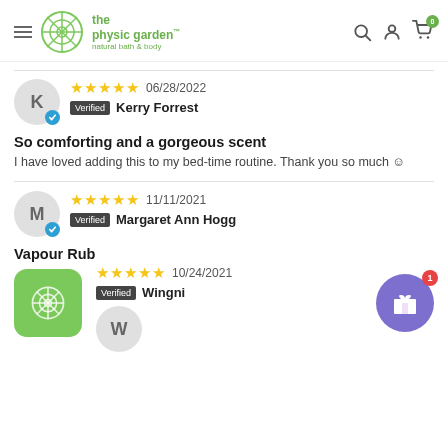the physic garden — natural bath & body — navigation header
06/28/2022 — Kerry Forrest — Verified — 5 stars
So comforting and a gorgeous scent
I have loved adding this to my bed-time routine. Thank you so much ☺
11/11/2021 — Margaret Ann Hogg — Verified — 5 stars
Vapour Rub
10/24/2021 — Wingni — Verified — 5 stars